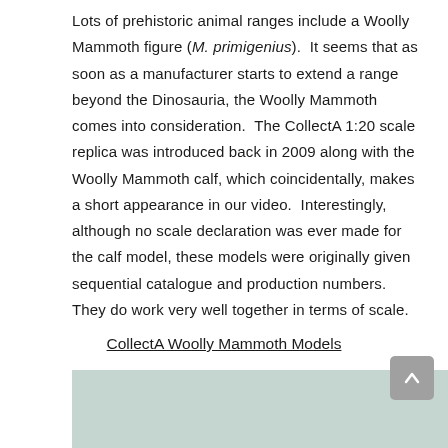Lots of prehistoric animal ranges include a Woolly Mammoth figure (M. primigenius).  It seems that as soon as a manufacturer starts to extend a range beyond the Dinosauria, the Woolly Mammoth comes into consideration.  The CollectA 1:20 scale replica was introduced back in 2009 along with the Woolly Mammoth calf, which coincidentally, makes a short appearance in our video.  Interestingly, although no scale declaration was ever made for the calf model, these models were originally given sequential catalogue and production numbers.  They do work very well together in terms of scale.
CollectA Woolly Mammoth Models
[Figure (photo): Partial view of a CollectA Woolly Mammoth model figure on a light teal/grey background, showing mainly the head/top portion of the figure.]